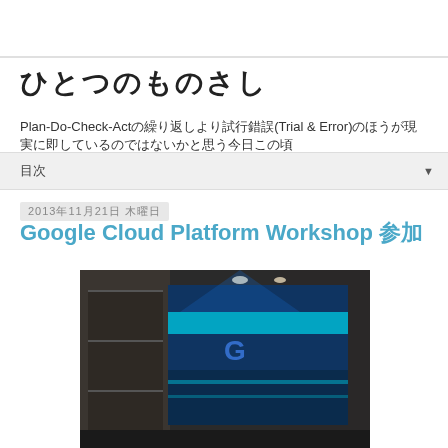ひとつのものさし
Plan-Do-Check-Actの繰り返しより試行錯誤(Trial & Error)のほうが現実に即しているのではないかと思う今日この頃
目次 ▼
2013年11月21日 木曜日
Google Cloud Platform Workshop 参加
[Figure (photo): Photo of a conference room with a projector screen showing a Google-branded presentation with blue lighting.]